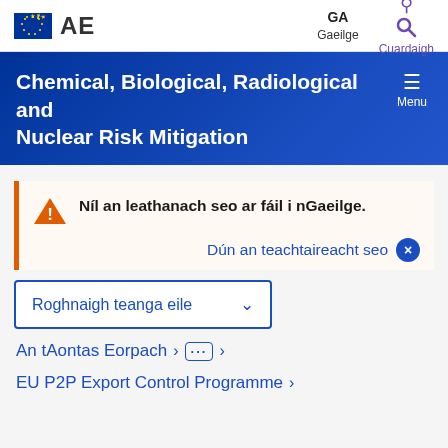AE | GA Gaeilge | Cuardaigh
Chemical, Biological, Radiological and Nuclear Risk Mitigation
Níl an leathanach seo ar fáil i nGaeilge.
Dún an teachtaireacht seo
Roghnaigh teanga eile
An tAontas Eorpach > ... >
EU P2P Export Control Programme >